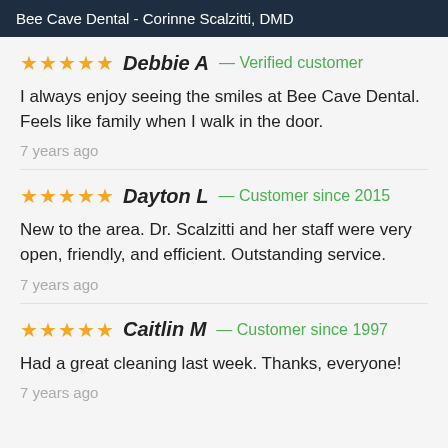Bee Cave Dental - Corinne Scalzitti, DMD
★★★★★ Debbie A — Verified customer
I always enjoy seeing the smiles at Bee Cave Dental. Feels like family when I walk in the door.
7 years ago
★★★★★ Dayton L — Customer since 2015
New to the area. Dr. Scalzitti and her staff were very open, friendly, and efficient. Outstanding service.
7 years ago
★★★★★ Caitlin M — Customer since 1997
Had a great cleaning last week. Thanks, everyone!
7 years ago